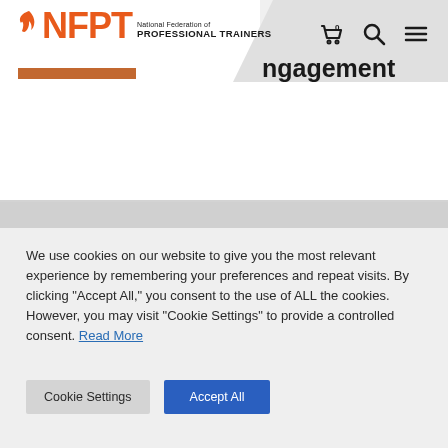[Figure (logo): NFPT - National Federation of Professional Trainers logo with orange flame icon and orange NFPT text]
...ngagement
We use cookies on our website to give you the most relevant experience by remembering your preferences and repeat visits. By clicking “Accept All,” you consent to the use of ALL the cookies. However, you may visit “Cookie Settings” to provide a controlled consent. Read More
Cookie Settings | Accept All